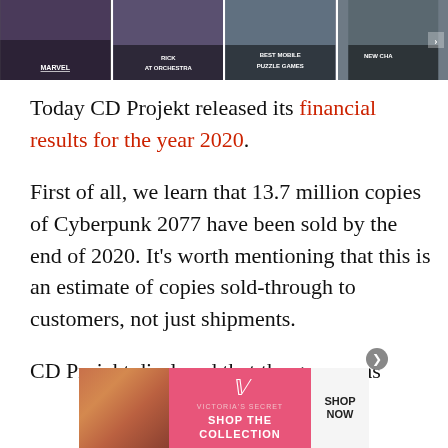[Figure (screenshot): Horizontal banner strip with 4 game/content thumbnails with text overlays: first cell dark with game art, second cell 'AT ORCHESTRA', third cell 'BEST MOBILE PUZZLE GAMES', fourth cell 'NEW CHA...' with forward arrow.]
Today CD Projekt released its financial results for the year 2020.
First of all, we learn that 13.7 million copies of Cyberpunk 2077 have been sold by the end of 2020. It’s worth mentioning that this is an estimate of copies sold-through to customers, not just shipments.
CD Projekt disclosed that the game was cre... Pro...
[Figure (screenshot): Victoria's Secret advertisement banner with pink background, model photo on left, VS logo and 'SHOP THE COLLECTION' text in center, 'SHOP NOW' button on right.]